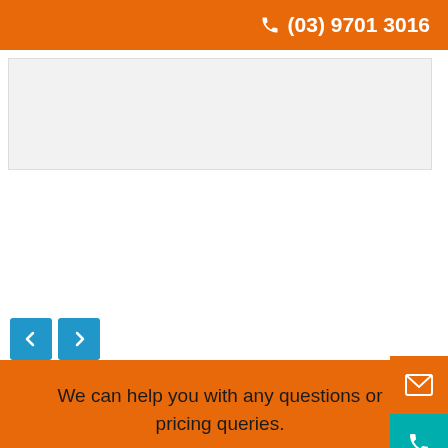(03) 9701 3016
[Figure (screenshot): White content area with light gray box, navigation carousel arrows (left/right) in blue]
We can help you with any questions or pricing queries.
Get In Touch >
[Figure (illustration): Dark footer area with orange scroll-to-top circle button and partial roof/chevron icon]